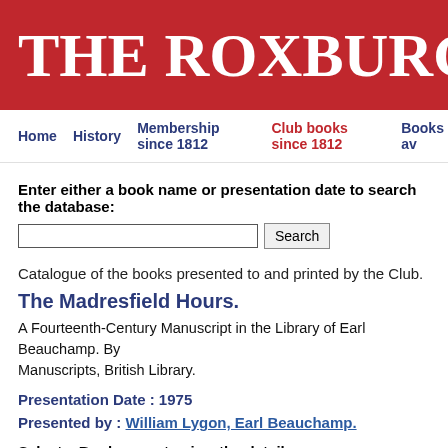THE ROXBURGHE CL
Home   History   Membership since 1812   Club books since 1812   Books av...
Enter either a book name or presentation date to search the database:
Catalogue of the books presented to and printed by the Club.
The Madresfield Hours.
A Fourteenth-Century Manuscript in the Library of Earl Beauchamp. By... Manuscripts, British Library.
Presentation Date : 1975
Presented by : William Lygon, Earl Beauchamp.
Select a Book name to view the details: